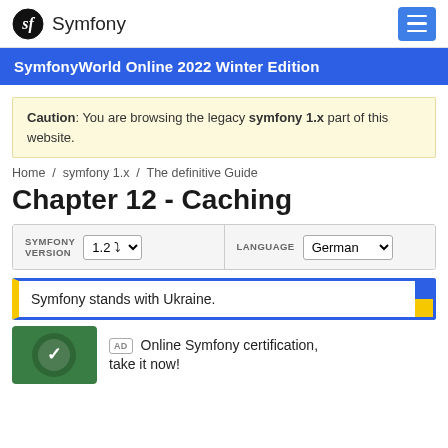Symfony
SymfonyWorld Online 2022 Winter Edition
Caution: You are browsing the legacy symfony 1.x part of this website.
Home / symfony 1.x / The definitive Guide
Chapter 12 - Caching
SYMFONY VERSION 1.2 | LANGUAGE German
Symfony stands with Ukraine.
AD Online Symfony certification, take it now!